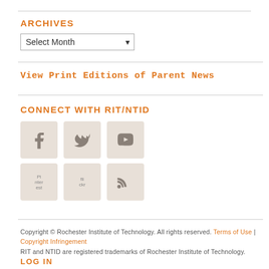ARCHIVES
Select Month
View Print Editions of Parent News
CONNECT WITH RIT/NTID
[Figure (infographic): Row of social media icons: Facebook, Twitter, YouTube]
[Figure (infographic): Row of social media icons: Pinterest (broken image), Flickr (broken image), RSS feed]
Copyright © Rochester Institute of Technology. All rights reserved. Terms of Use | Copyright Infringement RIT and NTID are registered trademarks of Rochester Institute of Technology.
LOG IN